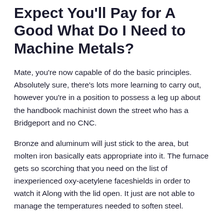Expect You'll Pay for A Good What Do I Need to Machine Metals?
Mate, you're now capable of do the basic principles. Absolutely sure, there's lots more learning to carry out, however you're in a position to possess a leg up about the handbook machinist down the street who has a Bridgeport and no CNC.
Bronze and aluminum will just stick to the area, but molten iron basically eats appropriate into it. The furnace gets so scorching that you need on the list of inexperienced oxy-acetylene faceshields in order to watch it Along with the lid open. It just are not able to manage the temperatures needed to soften steel.